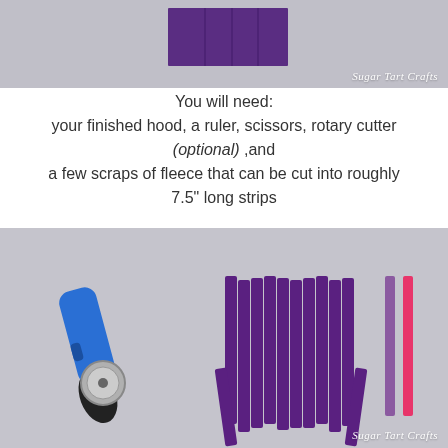[Figure (photo): Top photo showing purple fabric pieces on a gray surface, Sugar Tart Crafts watermark]
You will need:
your finished hood, a ruler, scissors, rotary cutter (optional) ,and
a few scraps of fleece that can be cut into roughly 7.5" long strips
[Figure (photo): Photo of a blue rotary cutter tool and multiple purple fleece strips plus one light purple and one pink strip laid flat on a gray surface, Sugar Tart Crafts watermark]